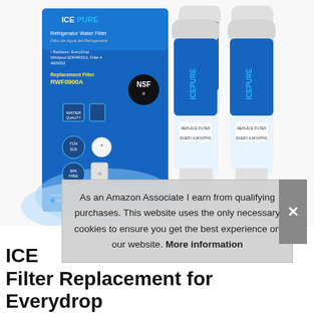[Figure (photo): ICEPURE Refrigerator Water Filter product photo showing one product box (blue and white, labeled 'Refrigerator Water Filter', 'RWF0900A', NSF certified, BPA Free) and four white/blue filter cartridges arranged behind, showing brand name ICEPURE and text 'REPLACE FILTER EVERY 6 MONTHS']
As an Amazon Associate I earn from qualifying purchases. This website uses the only necessary cookies to ensure you get the best experience on our website. More information
ICE... Filter Replacement for Everydrop